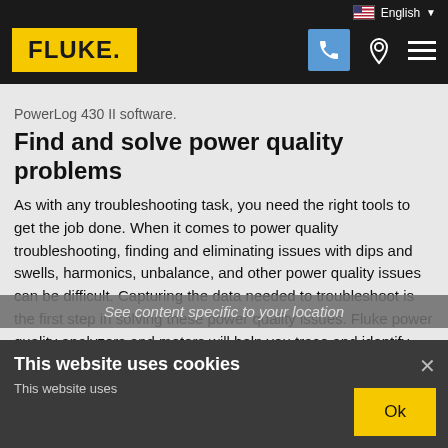FLUKE. | English | Navigation icons
PowerLog 430 II software.
Find and solve power quality problems
As with any troubleshooting task, you need the right tools to get the job done. When it comes to power quality troubleshooting, finding and eliminating issues with dips and swells, harmonics, unbalance, and other power quality issues can be difficult. Capturing the data needed to troubleshoot is the first step in solving these power quality issues. Fluke power quality analyzers and meters will help you trace and identify voltage anomalies and harmonic distortion issues - even the ones that are the most difficult
See content specific to your location
This website uses cookies
This website uses